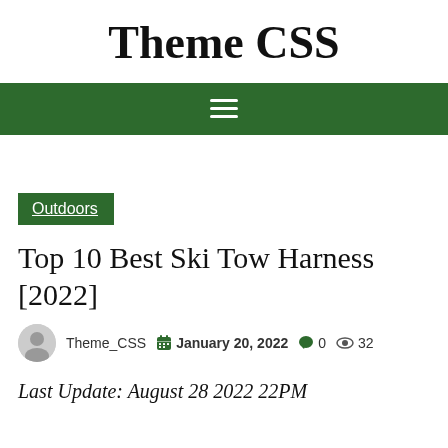Theme CSS
[Figure (other): Dark green navigation bar with white hamburger menu icon (three horizontal lines)]
Outdoors
Top 10 Best Ski Tow Harness [2022]
Theme_CSS  January 20, 2022  0  32
Last Update: August 28 2022 22PM